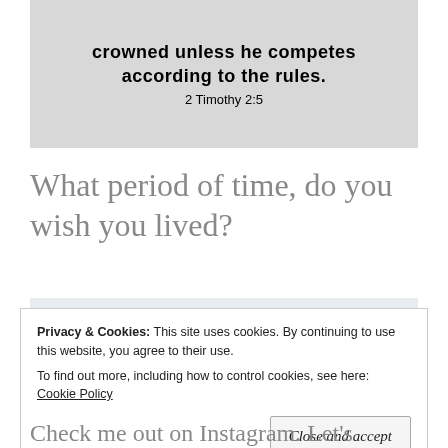[Figure (illustration): Grey background image with bold text quote: 'crowned unless he competes according to the rules.' and reference '2 Timothy 2:5']
What period of time, do you wish you lived?
[Figure (illustration): Light blue-grey banner with cursive script text: 'Have a blessed day and remember:']
Privacy & Cookies: This site uses cookies. By continuing to use this website, you agree to their use.
To find out more, including how to control cookies, see here: Cookie Policy
Close and accept
Check me out on Instagram. Let's continue